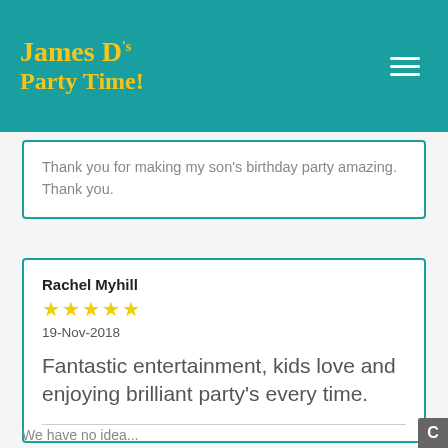James D's Party Time!
Thank you for making my son's birthday party amazing. Thank you.
Rachel Myhill
★★★★★
19-Nov-2018
Fantastic entertainment, kids love and enjoying brilliant party's every time.
We have no idea...